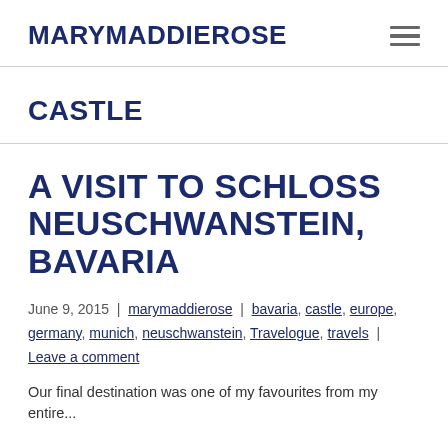MARYMADDIEROSE
CASTLE
A VISIT TO SCHLOSS NEUSCHWANSTEIN, BAVARIA
June 9, 2015  |  marymaddierose  |  bavaria, castle, europe, germany, munich, neuschwanstein, Travelogue, travels  |  Leave a comment
Our final destination was one of my favourites from my entire...